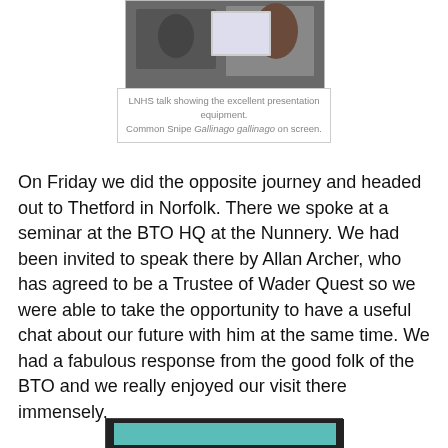[Figure (photo): Photo of people at an LNHS talk showing presentation equipment, Common Snipe Gallinago gallinago visible on screen]
LNHS talk showing the excellent presentation equipment. Common Snipe Gallinago gallinago on screen.
On Friday we did the opposite journey and headed out to Thetford in Norfolk. There we spoke at a seminar at the BTO HQ at the Nunnery. We had been invited to speak there by Allan Archer, who has agreed to be a Trustee of Wader Quest so we were able to take the opportunity to have a useful chat about our future with him at the same time. We had a fabulous response from the good folk of the BTO and we really enjoyed our visit there immensely.
[Figure (photo): Photo of a wader bird (sandpiper/snipe type) shown on a presentation screen, blue-green toned image]